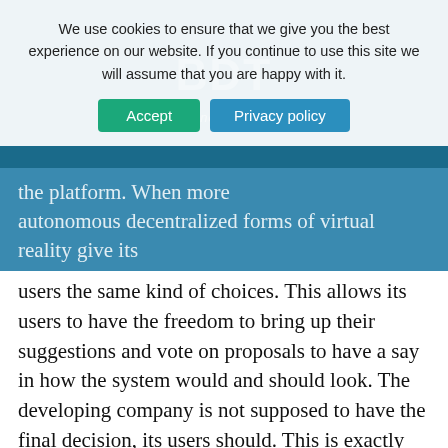We use cookies to ensure that we give you the best experience on our website. If you continue to use this site we will assume that you are happy with it.
the platform. When more autonomous decentralized forms of virtual reality give its users the same kind of choices. This allows its users to have the freedom to bring up their suggestions and vote on proposals to have a say in how the system would and should look. The developing company is not supposed to have the final decision, its users should. This is exactly what metaverse needs to preach. Behemoths like Facebook cannot alter the system of power allocation by taking over the reins of control. When the system of Virtual Reality is going to be combined with blockchain technology, it is meant to change the entire game of who holds control for the future.
Metaverse crypto-list to invest